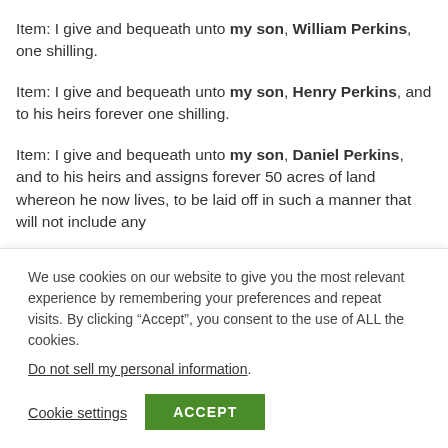Item: I give and bequeath unto my son, William Perkins, one shilling.
Item: I give and bequeath unto my son, Henry Perkins, and to his heirs forever one shilling.
Item: I give and bequeath unto my son, Daniel Perkins, and to his heirs and assigns forever 50 acres of land whereon he now lives, to be laid off in such a manner that will not include any
We use cookies on our website to give you the most relevant experience by remembering your preferences and repeat visits. By clicking “Accept”, you consent to the use of ALL the cookies.
Do not sell my personal information.
Cookie settings
ACCEPT